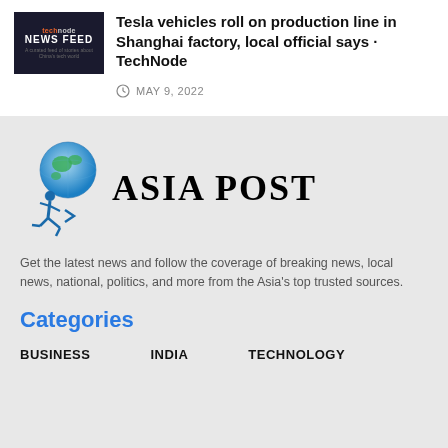[Figure (logo): TechNode News Feed thumbnail logo with dark background]
Tesla vehicles roll on production line in Shanghai factory, local official says · TechNode
MAY 9, 2022
[Figure (logo): Asia Post logo — globe with running figure and bold serif ASIA POST text]
Get the latest news and follow the coverage of breaking news, local news, national, politics, and more from the Asia's top trusted sources.
Categories
BUSINESS    INDIA    TECHNOLOGY